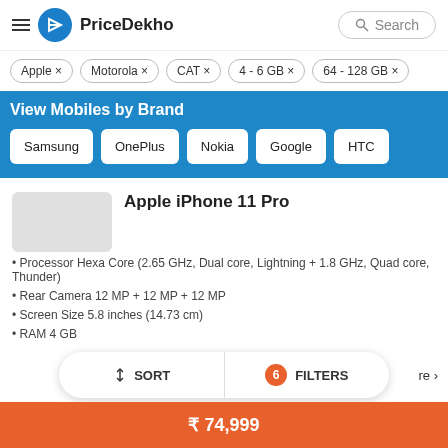PriceDekho
Apple ×
Motorola ×
CAT ×
4 - 6 GB ×
64 - 128 GB ×
View Mobiles by Brand
Samsung
OnePlus
Nokia
Google
HTC
Apple iPhone 11 Pro
Processor Hexa Core (2.65 GHz, Dual core, Lightning + 1.8 GHz, Quad core, Thunder)
Rear Camera 12 MP + 12 MP + 12 MP
Screen Size 5.8 inches (14.73 cm)
RAM 4 GB
SORT   6 FILTERS
₹ 74,999